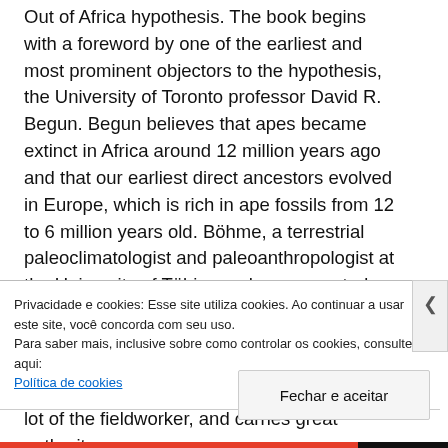Out of Africa hypothesis. The book begins with a foreword by one of the earliest and most prominent objectors to the hypothesis, the University of Toronto professor David R. Begun. Begun believes that apes became extinct in Africa around 12 million years ago and that our earliest direct ancestors evolved in Europe, which is rich in ape fossils from 12 to 6 million years old. Böhme, a terrestrial paleoclimatologist and paleoanthropologist at the University of Tübingen, has excavated and researched many specimens of European apes herself, and her account of the history of Europe's lost apes is imbued with the sweat, grime, and triumph that is the lot of the fieldworker, and carries great authority.
Privacidade e cookies: Esse site utiliza cookies. Ao continuar a usar este site, você concorda com seu uso.
Para saber mais, inclusive sobre como controlar os cookies, consulte aqui:
Política de cookies
Fechar e aceitar